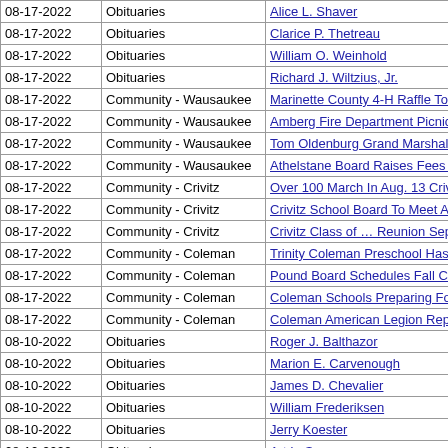| Date | Category | Article |
| --- | --- | --- |
| 08-17-2022 | Obituaries | Alice L. Shaver |
| 08-17-2022 | Obituaries | Clarice P. Thetreau |
| 08-17-2022 | Obituaries | William O. Weinhold |
| 08-17-2022 | Obituaries | Richard J. Wiltzius, Jr. |
| 08-17-2022 | Community - Wausaukee | Marinette County 4-H Raffle To Help the Clubs |
| 08-17-2022 | Community - Wausaukee | Amberg Fire Department Picnics Slated for Sept. |
| 08-17-2022 | Community - Wausaukee | Tom Oldenburg Grand Marshal for Amberg Parad |
| 08-17-2022 | Community - Wausaukee | Athelstane Board Raises Fees For Building Perm |
| 08-17-2022 | Community - Crivitz | Over 100 March In Aug. 13 Crivitz Alumni Band P |
| 08-17-2022 | Community - Crivitz | Crivitz School Board To Meet Aug. 17, Annual Me |
| 08-17-2022 | Community - Crivitz | Crivitz Class of … Reunion Sept. 24th |
| 08-17-2022 | Community - Coleman | Trinity Coleman Preschool Has Openings for Fall |
| 08-17-2022 | Community - Coleman | Pound Board Schedules Fall Cleanup for Septem |
| 08-17-2022 | Community - Coleman | Coleman Schools Preparing For Sept. 1 Start Of |
| 08-17-2022 | Community - Coleman | Coleman American Legion Reports Theft |
| 08-10-2022 | Obituaries | Roger J. Balthazor |
| 08-10-2022 | Obituaries | Marion  E. Carvenough |
| 08-10-2022 | Obituaries | James D. Chevalier |
| 08-10-2022 | Obituaries | William Frederiksen |
| 08-10-2022 | Obituaries | Jerry Koester |
| 08-10-2022 | Obituaries | Art LeSage |
| 08-10-2022 | Obituaries | Katie N. Luna |